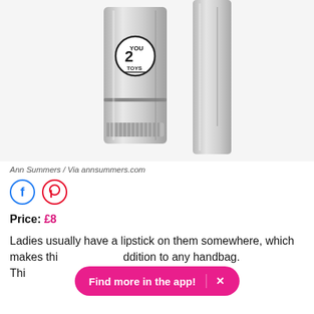[Figure (photo): Product photo of two silver metallic lipstick-shaped items (You2Toys branded) against white background]
Ann Summers / Via annsummers.com
Price: £8
Ladies usually have a lipstick on them somewhere, which makes thi... addition to any handbag. Thi... ect for a bit
[Figure (other): Find more in the app! banner overlay with X close button]